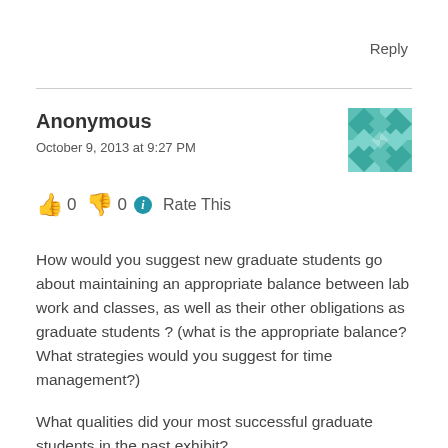Reply
Anonymous
October 9, 2013 at 9:27 PM
👍 0 👎 0 ℹ Rate This
How would you suggest new graduate students go about maintaining an appropriate balance between lab work and classes, as well as their other obligations as graduate students ? (what is the appropriate balance? What strategies would you suggest for time management?)
What qualities did your most successful graduate students in the past exhibit?